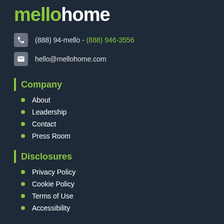mellohome
(888) 94-mello - (888) 946-3556
hello@mellohome.com
Company
About
Leadership
Contact
Press Room
Disclosures
Privacy Policy
Cookie Policy
Terms of Use
Accessibility